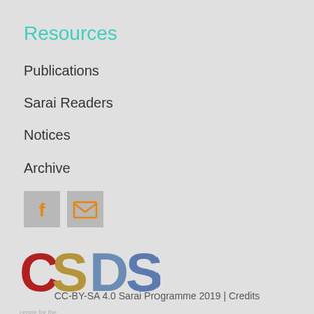Resources
Publications
Sarai Readers
Notices
Archive
[Figure (logo): Facebook icon (orange f on grey background)]
[Figure (logo): Email/envelope icon (orange envelope on grey background)]
[Figure (logo): CSDS logo with colourful letters C S D S and subtitle 'centre for the study of developing societies']
CC-BY-SA 4.0 Sarai Programme 2019 | Credits